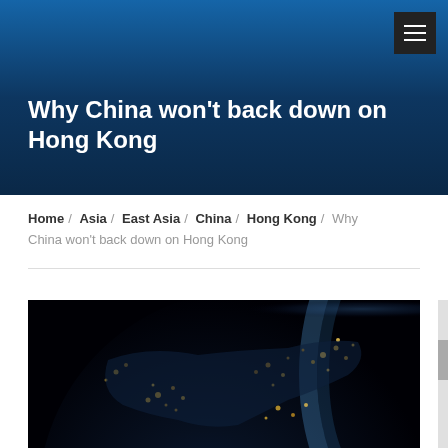Why China won't back down on Hong Kong
Home / Asia / East Asia / China / Hong Kong / Why China won't back down on Hong Kong
[Figure (photo): Satellite night view of Earth showing Asia with city lights visible, globe curved against dark space with blue atmospheric glow]